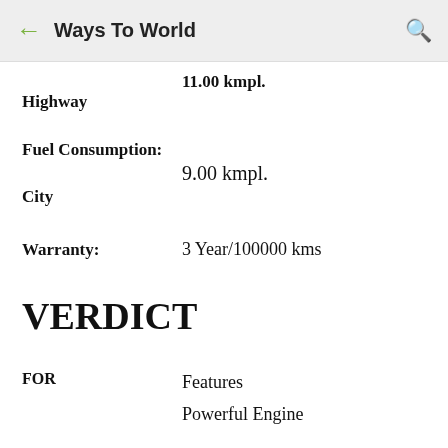Ways To World
11.00 kmpl.
Highway
Fuel Consumption:
9.00 kmpl.
City
Warranty: 3 Year/100000 kms
VERDICT
FOR
Features
Powerful Engine